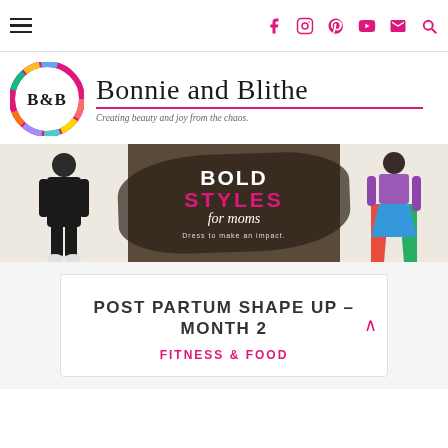Navigation bar with hamburger menu and social icons (Facebook, Instagram, Pinterest, YouTube, Email, Search)
[Figure (logo): Bonnie and Blithe blog logo: circular logo with B&B monogram and colorful border, next to site name 'Bonnie and Blithe' with pink underline and tagline 'Creating beauty and joy from the chaos.']
[Figure (photo): Banner image: 'BOLD STYLES for moms - Dress to make an impact.' with two women in fashion outfits on left and right panels, dark brushstroke background in center]
POST PARTUM SHAPE UP – MONTH 2
FITNESS & FOOD